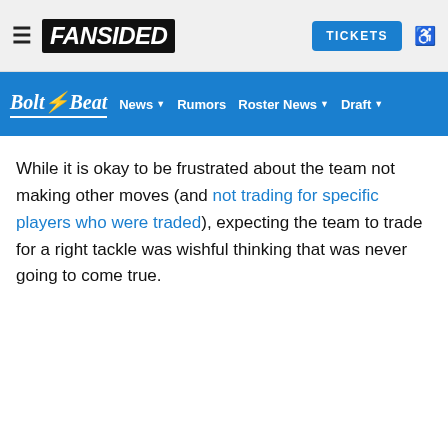FanSided | Bolt Beat | News | Rumors | Roster News | Draft | TICKETS
While it is okay to be frustrated about the team not making other moves (and not trading for specific players who were traded), expecting the team to trade for a right tackle was wishful thinking that was never going to come true.